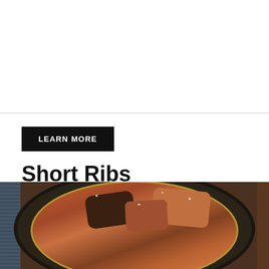[Figure (other): White space / advertisement area above a horizontal divider line]
LEARN MORE
Short Ribs
[Figure (photo): A bowl of braised short ribs with chunks of meat and vegetables, garnished with white seasoning, photographed from above on a dark wooden surface with a blue cloth visible on the left side.]